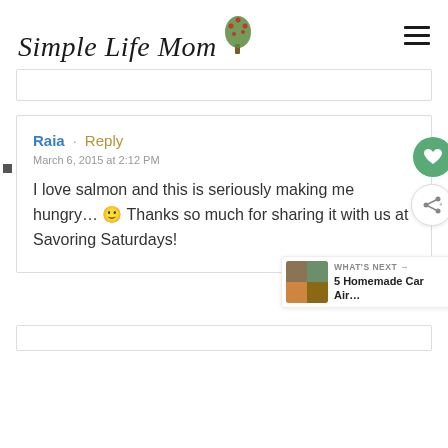Simple Life Mom
Raia · Reply
March 6, 2015 at 2:12 PM
I love salmon and this is seriously making me hungry… 🙂 Thanks so much for sharing it with us at Savoring Saturdays!